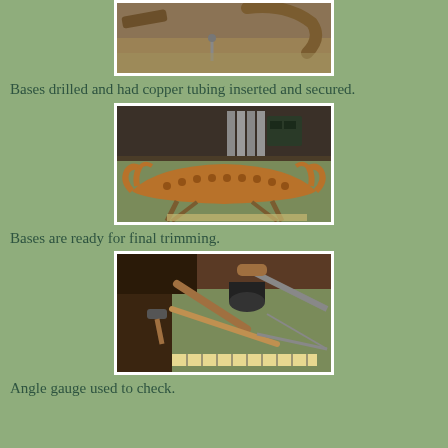[Figure (photo): Partially visible photo of carved wooden bases and a small metal nail/pin on a green work surface]
Bases drilled and had copper tubing inserted and secured.
[Figure (photo): Photo of a copper Viking ship model on wooden legs/stand on a workbench, with metal tubes and tools visible in the background]
Bases are ready for final trimming.
[Figure (photo): Photo of various woodworking tools including a ruler, saws, and other implements laid on a workbench]
Angle gauge used to check.